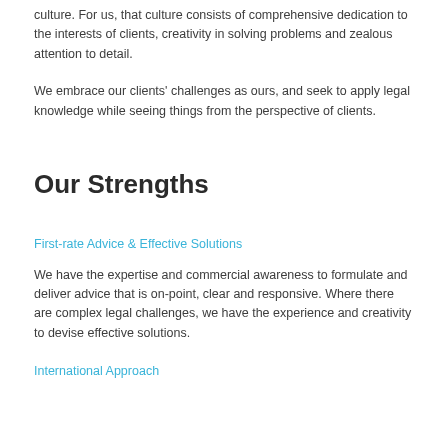culture. For us, that culture consists of comprehensive dedication to the interests of clients, creativity in solving problems and zealous attention to detail.
We embrace our clients' challenges as ours, and seek to apply legal knowledge while seeing things from the perspective of clients.
Our Strengths
First-rate Advice & Effective Solutions
We have the expertise and commercial awareness to formulate and deliver advice that is on-point, clear and responsive. Where there are complex legal challenges, we have the experience and creativity to devise effective solutions.
International Approach